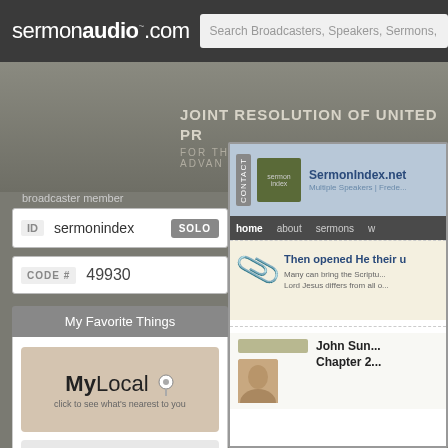sermonaudio.com  Search Broadcasters, Speakers, Sermons,
[Figure (screenshot): SermonAudio.com website screenshot showing broadcaster member login panel with ID 'sermonindex', SOLO button, CODE # 49930, My Favorite Things section with MyLocal and MyChurch buttons, and embedded SermonIndex.net website preview]
JOINT RESOLUTION OF UNITED PR FOR THE REVIVAL OF RELIGION & ADVAN
broadcaster member
ID  sermonindex  SOLO
CODE #  49930
My Favorite Things
[Figure (logo): MyLocal logo with location pin icon and text 'click to see what's nearest to you']
[Figure (logo): MyChurch logo with text 'click to specify your home church']
[Figure (screenshot): SermonIndex.net website embedded preview showing site header with CONTACT tab, logo, navigation bar (home, about, sermons), article titled 'Then opened He their u...' with text 'Many can bring the Scriptu... Lord Jesus differs from all o...' and a section showing 'John Sun... Chapter 2...' with speaker photo]